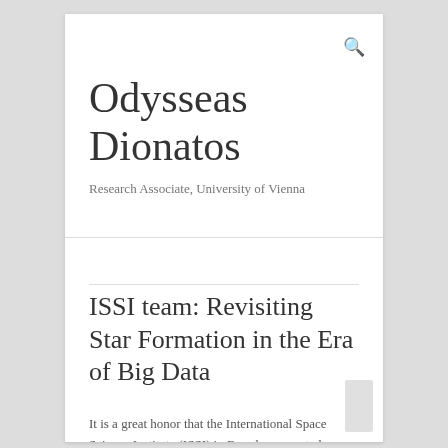Odysseas Dionatos
Research Associate, University of Vienna
ISSI team: Revisiting Star Formation in the Era of Big Data
It is a great honor that the International Space Science Institute (ISSI) in Bern has accepted our